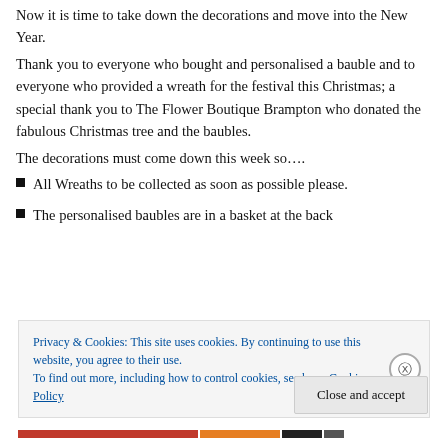Now it is time to take down the decorations and move into the New Year.
Thank you to everyone who bought and personalised a bauble and to everyone who provided a wreath for the festival this Christmas; a special thank you to The Flower Boutique Brampton who donated the fabulous Christmas tree and the baubles.
The decorations must come down this week so….
All Wreaths to be collected as soon as possible please.
The personalised baubles are in a basket at the back
Privacy & Cookies: This site uses cookies. By continuing to use this website, you agree to their use.
To find out more, including how to control cookies, see here: Cookie Policy
Close and accept